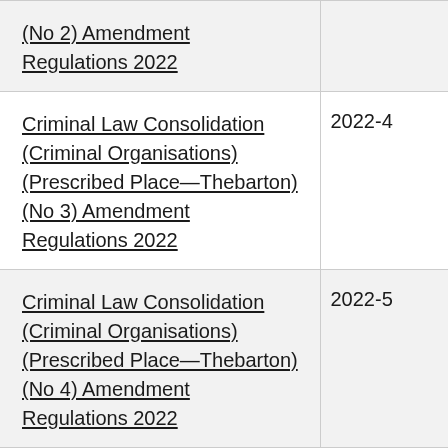| Regulation Name | Number |
| --- | --- |
| (No 2) Amendment Regulations 2022 |  |
| Criminal Law Consolidation (Criminal Organisations) (Prescribed Place—Thebarton) (No 3) Amendment Regulations 2022 | 2022-4 |
| Criminal Law Consolidation (Criminal Organisations) (Prescribed Place—Thebarton) (No 4) Amendment Regulations 2022 | 2022-5 |